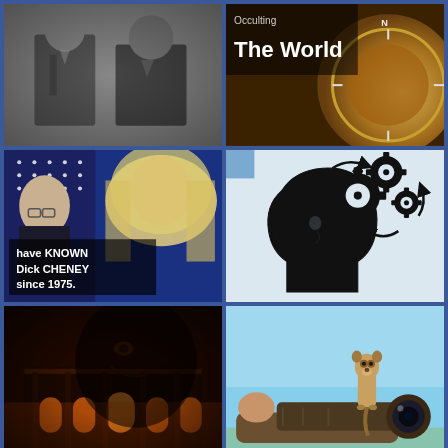[Figure (photo): Black and white photograph of two men in formal attire, historical photo]
[Figure (photo): Close-up of a golden compass with text 'Occulting The World' in white on dark background]
[Figure (photo): Video screenshot of a blonde woman in front of US flag, with Dick Cheney visible on left. Text overlay reads 'have KNOWN Dick CHENEY since 1975.']
[Figure (illustration): Black and white illustration of a human head silhouette in profile with gears/cogs spinning out of the top, representing thinking or mind mechanics]
[Figure (photo): Dark atmospheric photo of an ornate illuminated building facade with a shadowy face superimposed]
[Figure (photo): Photographer lying on ground with large telephoto camera lens, with a meerkat standing on top of the camera against a blue sky]